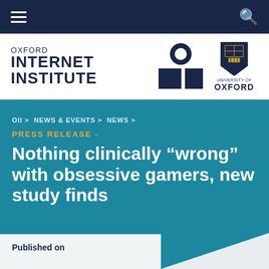≡  🔍
[Figure (logo): Oxford Internet Institute logo with OII mark and University of Oxford shield]
OII > NEWS & EVENTS > NEWS >
PRESS RELEASE -
Nothing clinically “wrong” with obsessive gamers, new study finds
Published on